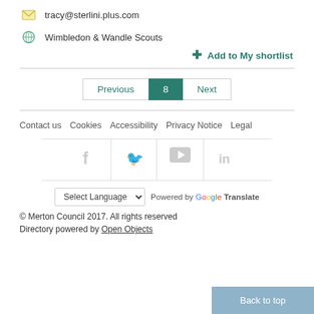tracy@sterlini.plus.com
Wimbledon & Wandle Scouts
+ Add to My shortlist
Previous  8  Next
Contact us  Cookies  Accessibility  Privacy Notice  Legal
[Figure (infographic): Social media icons: Facebook, Twitter, YouTube, LinkedIn]
Select Language  Powered by Google Translate
© Merton Council 2017. All rights reserved
Directory powered by Open Objects
Back to top